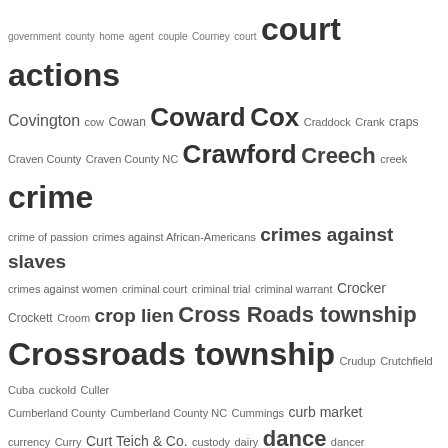[Figure (infographic): Tag cloud / word cloud index page showing terms from 'government' to 'Delta' in varying font sizes indicating relative frequency or importance. Terms include court actions, crime, Crossroads township, Darden, Davis, Dawson, death certificate, death notice, deed, and many more.]